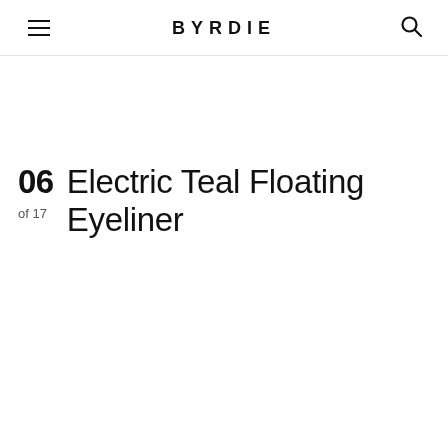BYRDIE
06  Electric Teal Floating Eyeliner
of 17